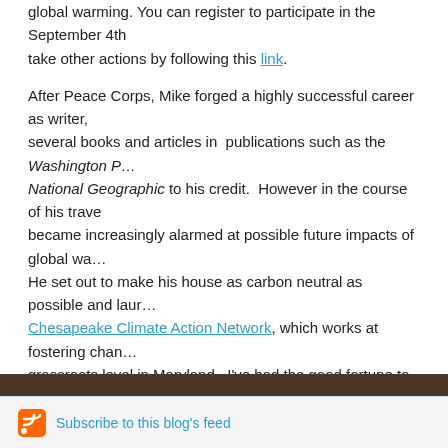global warming. You can register to participate in the September 4th… take other actions by following this link.
After Peace Corps, Mike forged a highly successful career as writer, several books and articles in publications such as the Washington Post, National Geographic to his credit. However in the course of his travels he became increasingly alarmed at possible future impacts of global warming. He set out to make his house as carbon neutral as possible and launched the Chesapeake Climate Action Network, which works at fostering change at the grassroots level in Maryland. I've had the good fortune to interview Mike and remain incredibly impressed by his unflagging passion.
Aug 31, 2007 4:43:46 PM | Advocacy, Climate Change, RPCV
Comment 0   Reblog It 0
« Previous
Subscribe to this blog's feed